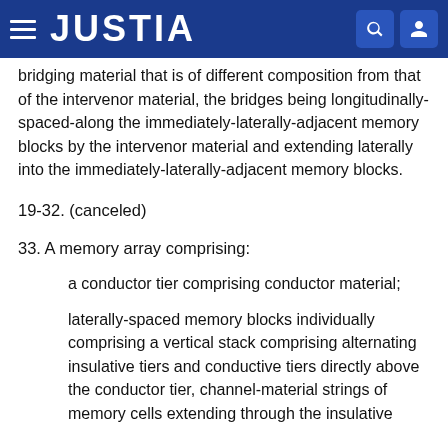JUSTIA
bridging material that is of different composition from that of the intervenor material, the bridges being longitudinally-spaced-along the immediately-laterally-adjacent memory blocks by the intervenor material and extending laterally into the immediately-laterally-adjacent memory blocks.
19-32. (canceled)
33. A memory array comprising:
a conductor tier comprising conductor material;
laterally-spaced memory blocks individually comprising a vertical stack comprising alternating insulative tiers and conductive tiers directly above the conductor tier, channel-material strings of memory cells extending through the insulative